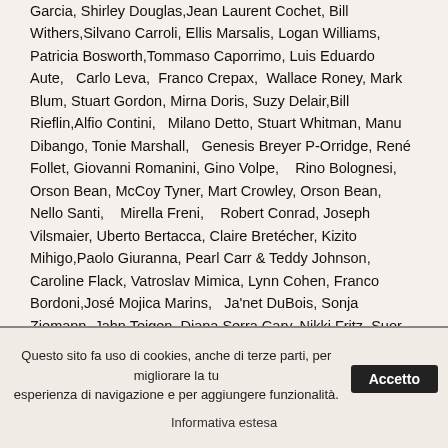Garcia, Shirley Douglas,Jean Laurent Cochet, Bill Withers,Silvano Carroli, Ellis Marsalis, Logan Williams, Patricia Bosworth,Tommaso Caporrimo, Luis Eduardo Aute,  Carlo Leva,  Franco Crepax,  Wallace Roney, Mark Blum, Stuart Gordon, Mirna Doris, Suzy Delair,Bill Rieflin,Alfio Contini,  Milano Detto, Stuart Whitman, Manu Dibango, Tonie Marshall,  Genesis Breyer P-Orridge, René Follet, Giovanni Romanini, Gino Volpe,   Rino Bolognesi,  Orson Bean, McCoy Tyner, Mart Crowley, Orson Bean, Nello Santi,   Mirella Freni,   Robert Conrad, Joseph Vilsmaier, Uberto Bertacca, Claire Bretécher, Kizito Mihigo,Paolo Giuranna, Pearl Carr & Teddy Johnson, Caroline Flack, Vatroslav Mimica, Lynn Cohen, Franco Bordoni,José Mojica Marins,  Ja'net DuBois, Sonja Ziemann, Jahn Teigen, Diana Serra Cary, Nikki Fritz, Suor Germana,  Adelaide Chiozzo,   Mirella Freni,   Robert Conrad, Joseph Vilsmaier, Uberto Bertacca, Claire Bretécher, Kizito Mihigo,Paolo Giuranna, Pearl Carr &
Questo sito fa uso di cookies, anche di terze parti, per migliorare la tu esperienza di navigazione e per aggiungere funzionalità.
Informativa estesa